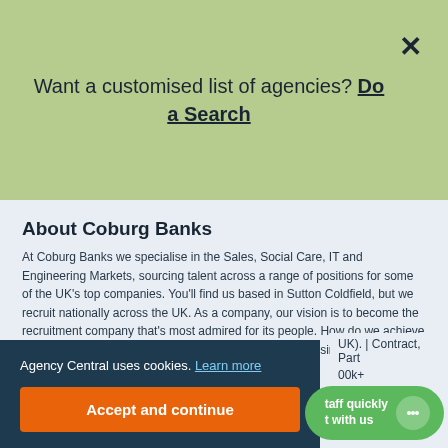Want a customised list of agencies? Do a Search
About Coburg Banks
At Coburg Banks we specialise in the Sales, Social Care, IT and Engineering Markets, sourcing talent across a range of positions for some of the UK's top companies. You'll find us based in Sutton Coldfield, but we recruit nationally across the UK. As a company, our vision is to become the recruitment company that's most admired for its people. How do we achieve that? By hiring outstanding individuals to work for our business.
View detailed information >
Stock Auditor - Logistics
UK). | Contract, Part
00k+
Agency Central uses cookies. Learn more
Accept and continue
taff quickly
t with us